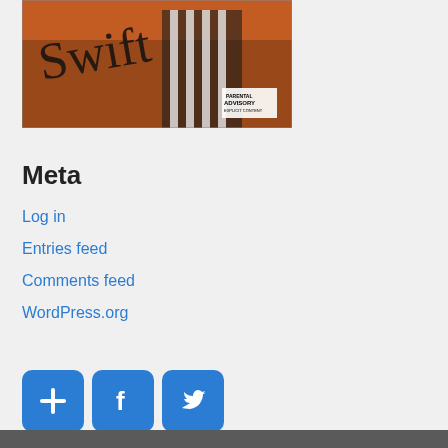[Figure (photo): Album cover showing a person in a striped shirt with a cursive signature overlay and a Parental Advisory label, on an orange/brown background]
Meta
Log in
Entries feed
Comments feed
WordPress.org
[Figure (infographic): Three social/share icon buttons: a blue plus/add button, a Facebook button, and a Twitter button]